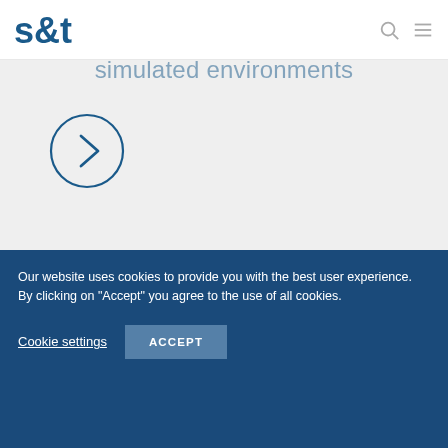s&t logo with navigation icons
simulated environments
[Figure (illustration): Circle button with right-pointing chevron arrow, outlined style in dark blue]
implementation of software solutions
Our website uses cookies to provide you with the best user experience. By clicking on "Accept" you agree to the use of all cookies.
Cookie settings   ACCEPT